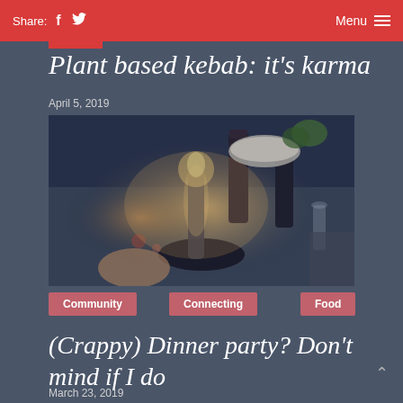Share: f  [twitter]   Menu ≡
Plant based kebab: it's karma
April 5, 2019
[Figure (photo): Dinner table scene with candles, wine bottles, plates, and a bowl, dimly lit in warm tones]
Community
Connecting
Food
(Crappy) Dinner party? Don't mind if I do
March 23, 2019